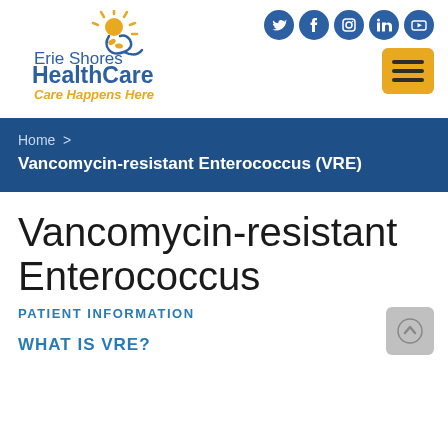[Figure (logo): Erie Shores HealthCare logo with sun/wave graphic, tagline 'Care Happens Here']
[Figure (infographic): Social media icons (Twitter, Facebook, Instagram, LinkedIn, YouTube) and hamburger menu button]
Home  >  Vancomycin-resistant Enterococcus (VRE)
Vancomycin-resistant Enterococcus
PATIENT INFORMATION
WHAT IS VRE?